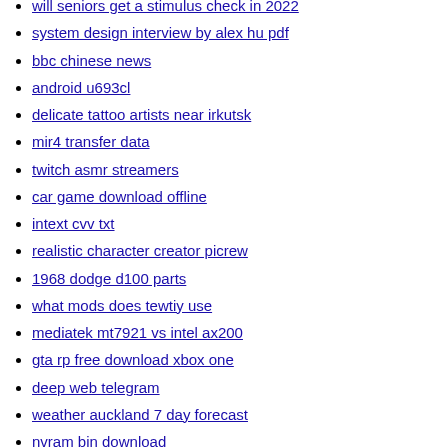will seniors get a stimulus check in 2022
system design interview by alex hu pdf
bbc chinese news
android u693cl
delicate tattoo artists near irkutsk
mir4 transfer data
twitch asmr streamers
car game download offline
intext cvv txt
realistic character creator picrew
1968 dodge d100 parts
what mods does tewtiy use
mediatek mt7921 vs intel ax200
gta rp free download xbox one
deep web telegram
weather auckland 7 day forecast
nvram bin download
pebt california 2022
rexouium vrchat
blitz promo code no deposit 2022
manoe konings married
quintrex renegade 420 hull price
golden teacher spore syringe
edgenuity hack extension
omlet arcade apk
solar power inverters 5000w